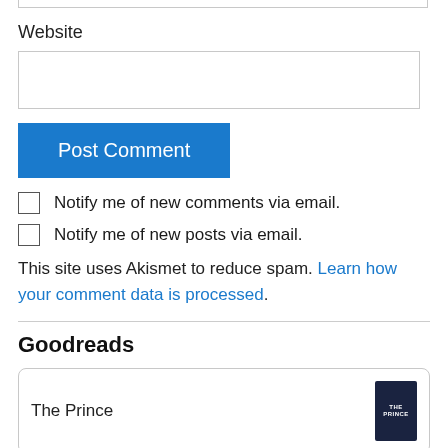Website
Post Comment
Notify me of new comments via email.
Notify me of new posts via email.
This site uses Akismet to reduce spam. Learn how your comment data is processed.
Goodreads
The Prince